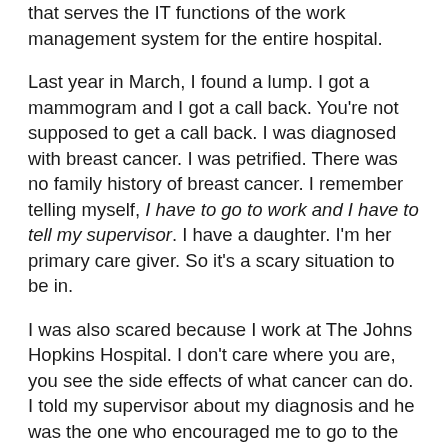that serves the IT functions of the work management system for the entire hospital.
Last year in March, I found a lump. I got a mammogram and I got a call back. You're not supposed to get a call back. I was diagnosed with breast cancer. I was petrified. There was no family history of breast cancer. I remember telling myself, I have to go to work and I have to tell my supervisor. I have a daughter. I'm her primary care giver. So it's a scary situation to be in.
I was also scared because I work at The Johns Hopkins Hospital. I don't care where you are, you see the side effects of what cancer can do. I told my supervisor about my diagnosis and he was the one who encouraged me to go to the Work Stride: